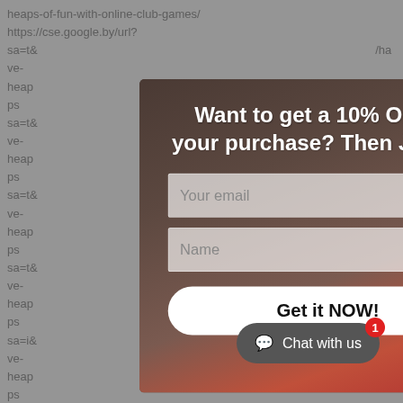heaps-of-fun-with-online-club-games/
https://cse.google.by/url?
sa=t& /have-
heap https
sa=t& /have-
heap https
sa=t& /have-
heap https
sa=t& /have-
heap https
sa=i& /have-
heap https
sa=t&url=http://casinoltop.xyz/index.ph ave-
heaps-of-fun-with-online-club-games/
https://...
[Figure (screenshot): Modal popup overlay on a webpage showing a discount offer. Contains title 'Want to get a 10% OFF on your purchase? Then Join Us!', email input field, name input field, 'Get it NOW!' button, and 'No thanks' link. Background shows a woman in a pink dress against a wooden wall. Close button (X) in top right corner.]
Want to get a 10% OFF on your purchase? Then Join Us!
Your email
Name
Get it NOW!
No thanks
Chat with us